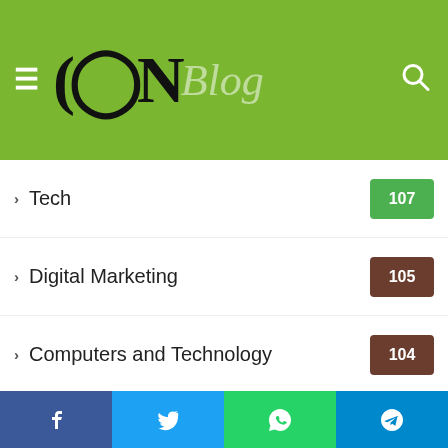CIN Blog
Tech 107
Digital Marketing 105
Computers and Technology 104
Travel 95
Automotive 73
Lifestyle 70
Uncategorized 68
Finance 54
Software 50
Life Style
Facebook Twitter WhatsApp Telegram